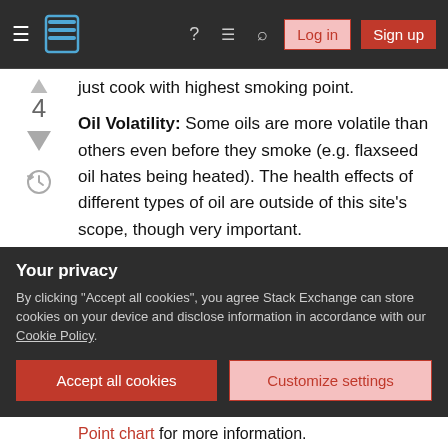Stack Exchange navigation bar with Log in and Sign up buttons
just cook with highest smoking point.
Oil Volatility: Some oils are more volatile than others even before they smoke (e.g. flaxseed oil hates being heated). The health effects of different types of oil are outside of this site's scope, though very important.
Smoke Points Within Each type of Oil: There are also some clutter to cut through in the talk. For example, while the farmer market guy is promoting grapeseed oil (considered a great all around oil), the
Your privacy
By clicking "Accept all cookies", you agree Stack Exchange can store cookies on your device and disclose information in accordance with our Cookie Policy.
Accept all cookies
Customize settings
Point chart for more information.